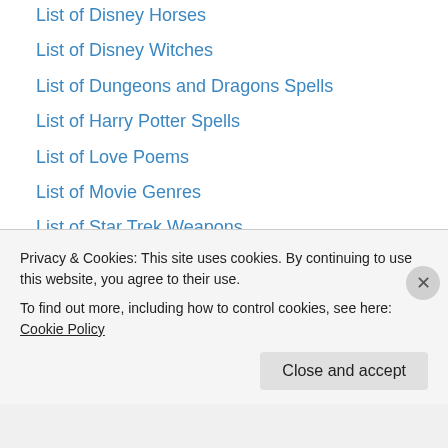List of Disney Horses
List of Disney Witches
List of Dungeons and Dragons Spells
List of Harry Potter Spells
List of Love Poems
List of Movie Genres
List of Star Trek Weapons
List of Superhero Movies
List of Superheroes
List of Technology in the DC Universe
List of Technology in the Marvel Universe
List of TV Shows
List of Warhammer 40K Weapons
Science Fiction Dictionary
Privacy & Cookies: This site uses cookies. By continuing to use this website, you agree to their use.
To find out more, including how to control cookies, see here: Cookie Policy